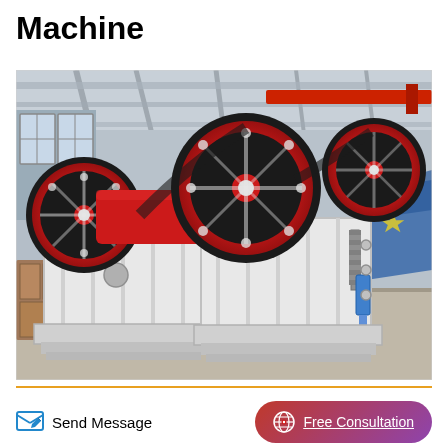Machine
[Figure (photo): Two large industrial jaw crusher machines with prominent red and black flywheels and white painted frames, photographed inside a factory/warehouse setting with steel roof structure visible in background.]
Send Message
Free Consultation